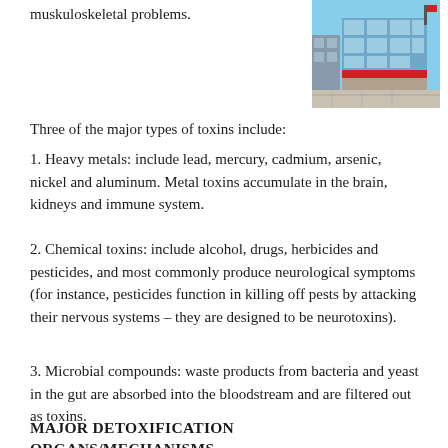muskuloskeletal problems.
[Figure (photo): Exterior photo of a modern multi-story building with blue glass facade, brick lower level, and a parking lot in the foreground.]
Three of the major types of toxins include:
1. Heavy metals: include lead, mercury, cadmium, arsenic, nickel and aluminum. Metal toxins accumulate in the brain, kidneys and immune system.
2. Chemical toxins: include alcohol, drugs, herbicides and pesticides, and most commonly produce neurological symptoms (for instance, pesticides function in killing off pests by attacking their nervous systems – they are designed to be neurotoxins).
3. Microbial compounds: waste products from bacteria and yeast in the gut are absorbed into the bloodstream and are filtered out as toxins.
MAJOR DETOXIFICATION ORGANS/MECHANISMS